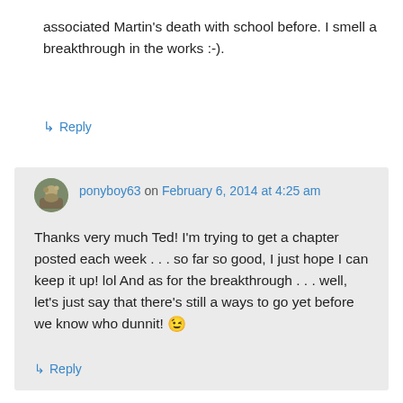associated Martin's death with school before. I smell a breakthrough in the works :-).
↳ Reply
ponyboy63 on February 6, 2014 at 4:25 am
Thanks very much Ted! I'm trying to get a chapter posted each week . . . so far so good, I just hope I can keep it up! lol And as for the breakthrough . . . well, let's just say that there's still a ways to go yet before we know who dunnit! 😉
↳ Reply